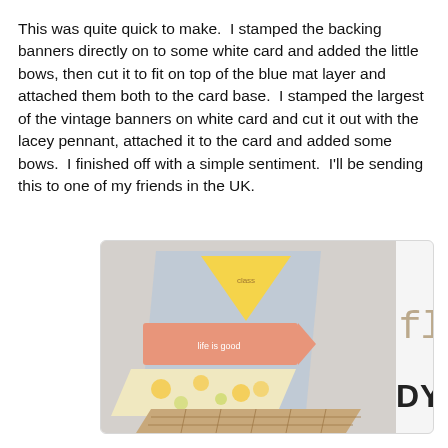This was quite quick to make.  I stamped the backing banners directly on to some white card and added the little bows, then cut it to fit on top of the blue mat layer and attached them both to the card base.  I stamped the largest of the vintage banners on white card and cut it out with the lacey pennant, attached it to the card and added some bows.  I finished off with a simple sentiment.  I'll be sending this to one of my friends in the UK.
[Figure (photo): A photo of a handmade card with pennant/flag banners in yellow, pink, floral, and checkered patterns with 'life is good' text on the pink banner, alongside a logo area with 'flag' in cursive and '#90 DYSU' text]